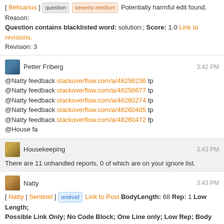[ Belisarius ] question severity-medium Potentially harmful edit found. Reason: Question contains blacklisted word: solution:; Score: 1.0 Link to revisions. Revision: 3
Petter Friberg 3:42 PM @Natty feedback stackoverflow.com/a/48258236 tp @Natty feedback stackoverflow.com/a/48258677 tp @Natty feedback stackoverflow.com/a/48260274 tp @Natty feedback stackoverflow.com/a/48260405 tp @Natty feedback stackoverflow.com/a/48260472 fp @House fa
Housekeeping 3:43 PM There are 11 unhandled reports, 0 of which are on your ignore list.
Natty 3:43 PM [ Natty | Sentinel ] android Link to Post BodyLength: 68 Rep: 1 Low Length; Possible Link Only; No Code Block; One Line only; Low Rep; Body Starts With: For clear understanding view this video youtu.be/GopgMXLgBYI 5.5;
Petter Friberg 3:43 PM @House o
Housekeeping 3:43 PM Opened 12 reports.
Petter Friberg 3:44 PM @Natty feedback stackoverflow.com/a/48255605 fp